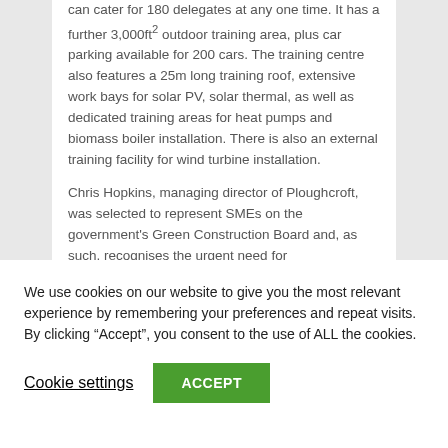can cater for 180 delegates at any one time. It has a further 3,000ft2 outdoor training area, plus car parking available for 200 cars. The training centre also features a 25m long training roof, extensive work bays for solar PV, solar thermal, as well as dedicated training areas for heat pumps and biomass boiler installation. There is also an external training facility for wind turbine installation.
Chris Hopkins, managing director of Ploughcroft, was selected to represent SMEs on the government's Green Construction Board and, as such, recognises the urgent need for
We use cookies on our website to give you the most relevant experience by remembering your preferences and repeat visits. By clicking “Accept”, you consent to the use of ALL the cookies.
Cookie settings
ACCEPT